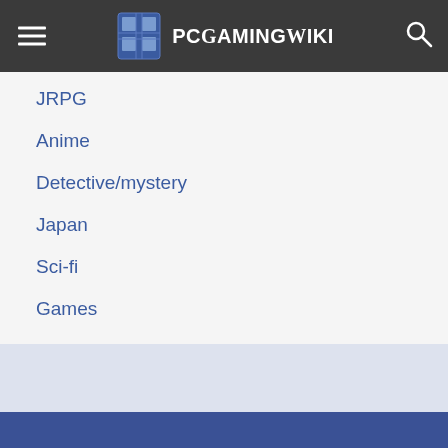PCGamingWiki
JRPG
Anime
Detective/mystery
Japan
Sci-fi
Games
Social icons: Facebook, Twitter, YouTube, Steam, Discord